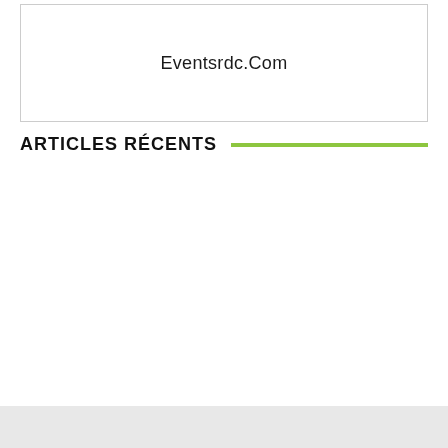[Figure (other): White box with centered text 'Eventsrdc.Com']
ARTICLES RÉCENTS